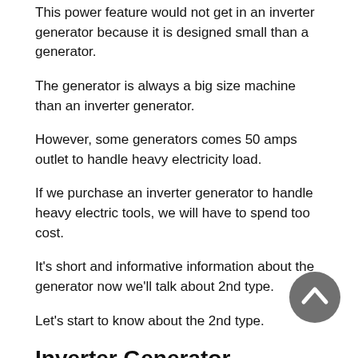This power feature would not get in an inverter generator because it is designed small than a generator.
The generator is always a big size machine than an inverter generator.
However, some generators comes 50 amps outlet to handle heavy electricity load.
If we purchase an inverter generator to handle heavy electric tools, we will have to spend too cost.
It's short and informative information about the generator now we'll talk about 2nd type.
Let's start to know about the 2nd type.
Inverter Generator
[Figure (illustration): Gray circular scroll-to-top button with upward chevron arrow icon]